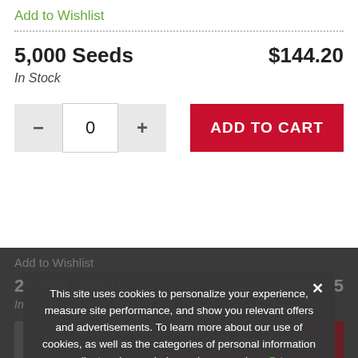Add to Wishlist
5,000 Seeds
$144.20
In Stock
ADD TO CART
Add to Wishlist
25,000 Seeds
$623.75
In Stock
ADD TO CART
Chat With Us
Add to Wishlist
This site uses cookies to personalize your experience, measure site performance, and show you relevant offers and advertisements. To learn more about our use of cookies, as well as the categories of personal information we collect and your choices, please read our Privacy Policy. By clicking ALLOW or clicking on any other content, you agree that cookies can be placed.
ALLOW